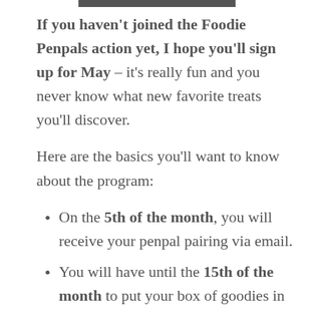[Figure (other): Partial decorative border element at top center of page]
If you haven't joined the Foodie Penpals action yet, I hope you'll sign up for May – it's really fun and you never know what new favorite treats you'll discover.
Here are the basics you'll want to know about the program:
On the 5th of the month, you will receive your penpal pairing via email.
You will have until the 15th of the month to put your box of goodies in the mail. On the last day of the month, you